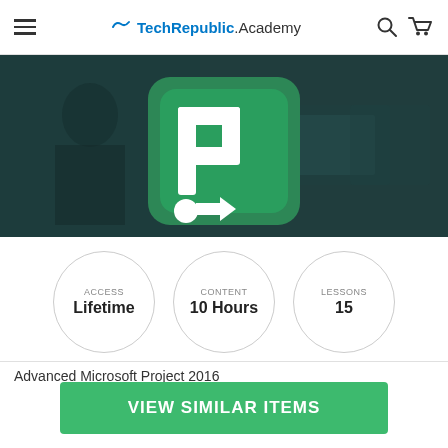TechRepublic. Academy
[Figure (screenshot): Hero banner image for Advanced Microsoft Project 2016 course, showing the Microsoft Project green 'P' logo icon on a dark teal overlay background with a person working at a desk visible in the background.]
ACCESS
Lifetime
CONTENT
10 Hours
LESSONS
15
Advanced Microsoft Project 2016
VIEW SIMILAR ITEMS